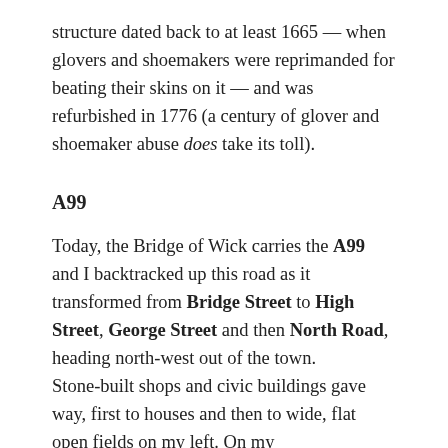structure dated back to at least 1665 — when glovers and shoemakers were reprimanded for beating their skins on it — and was refurbished in 1776 (a century of glover and shoemaker abuse does take its toll).
A99
Today, the Bridge of Wick carries the A99 and I backtracked up this road as it transformed from Bridge Street to High Street, George Street and then North Road, heading north-west out of the town. Stone-built shops and civic buildings gave way, first to houses and then to wide, flat open fields on my left. On my